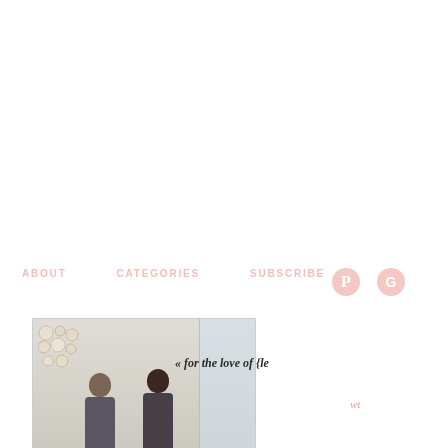ABOUT   CATEGORIES   SUBSCRIBE
[Figure (photo): Two women with dark hair standing indoors, wall decoration with circular elements in background, bright window on right]
« for the love of {le
wt